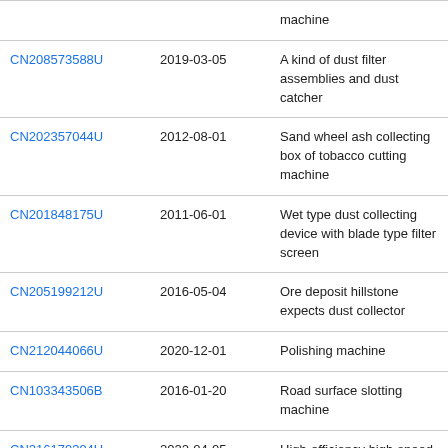| Patent ID | Date | Description |
| --- | --- | --- |
|  |  | machine |
| CN208573588U | 2019-03-05 | A kind of dust filter assemblies and dust catcher |
| CN202357044U | 2012-08-01 | Sand wheel ash collecting box of tobacco cutting machine |
| CN201848175U | 2011-06-01 | Wet type dust collecting device with blade type filter screen |
| CN205199212U | 2016-05-04 | Ore deposit hillstone expects dust collector |
| CN212044066U | 2020-12-01 | Polishing machine |
| CN103343506B | 2016-01-20 | Road surface slotting machine |
| CN216179394U | 2022-04-05 | High-efficiency high-speed circulation grinding head for polishing machine |
| CN209190508U | 2019-08-02 | A kind of cutting agency of |